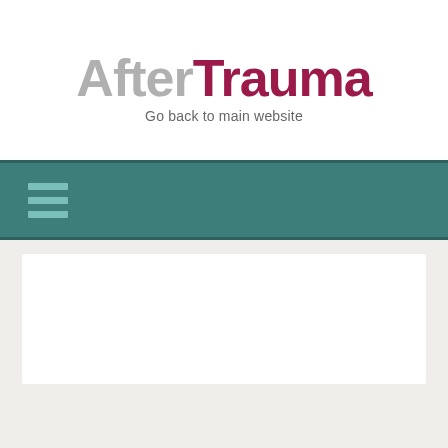[Figure (logo): AfterTrauma logo with 'After' in grey and 'Trauma' in dark red/maroon, bold large text]
Go back to main website
[Figure (other): Teal navigation bar with hamburger menu icon (three horizontal lines in lighter teal)]